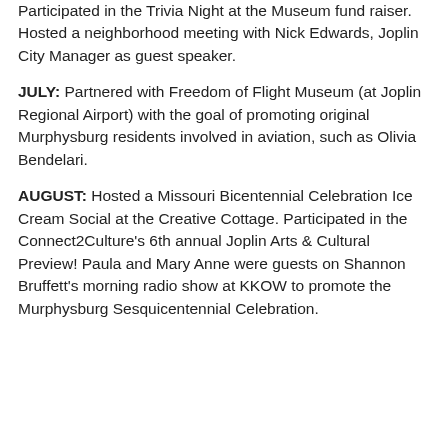Participated in the Trivia Night at the Museum fund raiser. Hosted a neighborhood meeting with Nick Edwards, Joplin City Manager as guest speaker.
JULY: Partnered with Freedom of Flight Museum (at Joplin Regional Airport) with the goal of promoting original Murphysburg residents involved in aviation, such as Olivia Bendelari.
AUGUST: Hosted a Missouri Bicentennial Celebration Ice Cream Social at the Creative Cottage. Participated in the Connect2Culture's 6th annual Joplin Arts & Cultural Preview! Paula and Mary Anne were guests on Shannon Bruffett's morning radio show at KKOW to promote the Murphysburg Sesquicentennial Celebration.